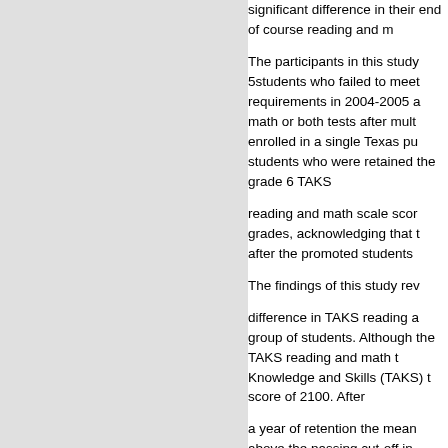significant difference in their end of course reading and m
The participants in this study 5students who failed to meet requirements in 2004-2005 a math or both tests after mult enrolled in a single Texas pu students who were retained the grade 6 TAKS
reading and math scale scor grades, acknowledging that t after the promoted students
The findings of this study rev
difference in TAKS reading a group of students. Although the TAKS reading and math t Knowledge and Skills (TAKS) t score of 2100. After
a year of retention the mean above the passing cut-off in math.
Three comparisons of end o statistically significant diff